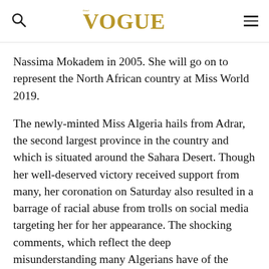VOGUE
Nassima Mokadem in 2005. She will go on to represent the North African country at Miss World 2019.
The newly-minted Miss Algeria hails from Adrar, the second largest province in the country and which is situated around the Sahara Desert. Though her well-deserved victory received support from many, her coronation on Saturday also resulted in a barrage of racial abuse from trolls on social media targeting her for her appearance. The shocking comments, which reflect the deep misunderstanding many Algerians have of the cultural and ethnic